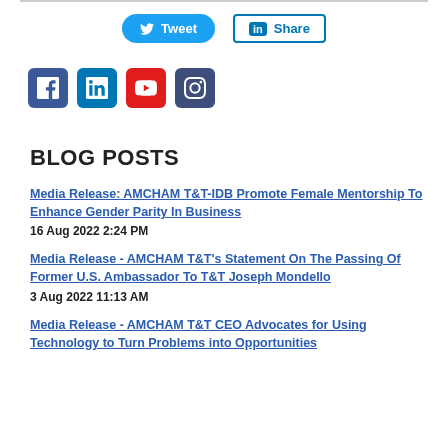[Figure (other): Tweet and Share social media buttons (Twitter and LinkedIn)]
[Figure (other): Row of social media icons: Facebook, LinkedIn, YouTube, Instagram]
BLOG POSTS
Media Release: AMCHAM T&T-IDB Promote Female Mentorship To Enhance Gender Parity In Business
16 Aug 2022 2:24 PM
Media Release - AMCHAM T&T's Statement On The Passing Of Former U.S. Ambassador To T&T Joseph Mondello
3 Aug 2022 11:13 AM
Media Release - AMCHAM T&T CEO Advocates for Using Technology to Turn Problems into Opportunities